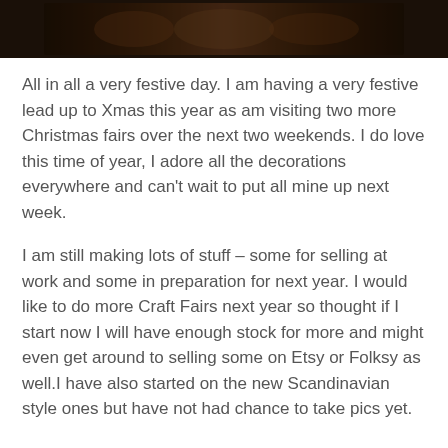[Figure (photo): Dark blurred photo strip at top of page, appears to show people or a scene in very low light with warm amber tones]
All in all a very festive day. I am having a very festive lead up to Xmas this year as am visiting two more Christmas fairs over the next two weekends. I do love this time of year, I adore all the decorations everywhere and can't wait to put all mine up next week.
I am still making lots of stuff – some for selling at work and some in preparation for next year. I would like to do more Craft Fairs next year so thought if I start now I will have enough stock for more and might even get around to selling some on Etsy or Folksy as well.I have also started on the new Scandinavian style ones but have not had chance to take pics yet.